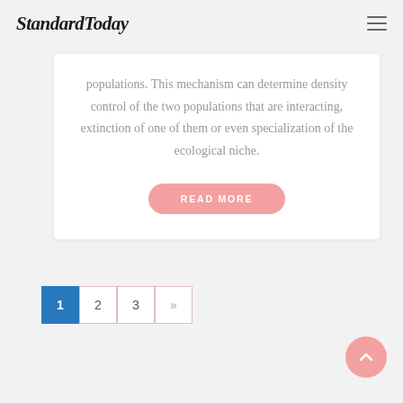StandardToday
populations. This mechanism can determine density control of the two populations that are interacting, extinction of one of them or even specialization of the ecological niche.
READ MORE
1  2  3  »